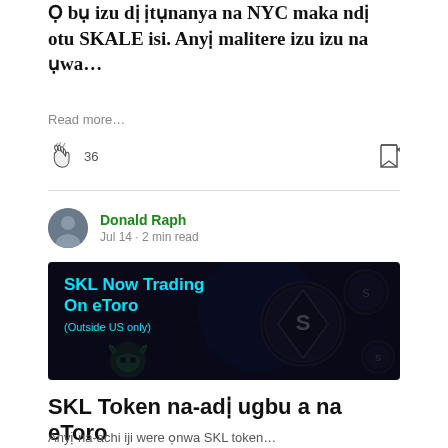Ọ bụ izu dị ịtụnanya na NYC maka ndị otu SKALE isi. Anyị malitere izu izu na ụwa…
Read more…
36
Donald Raph
Jul 14 · 2 min read
[Figure (illustration): Banner image: dark background with cyan text 'SKL Now Trading On eToro (Outside US only)' and SKL token coin graphics]
SKL Token na-adị ugbu a na eToro
Anyị na-achi iji were ọnwa SKL token...